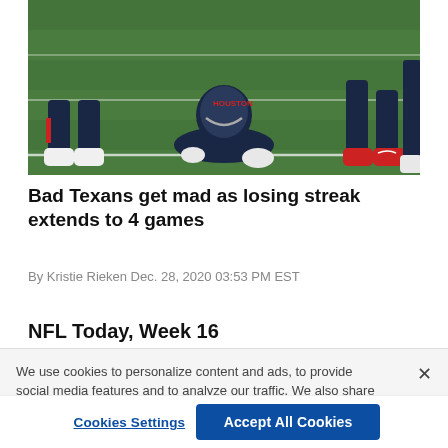[Figure (photo): Football players on a field, one player down on the grass, others standing around, wearing Houston Texans dark navy uniforms and helmets]
Bad Texans get mad as losing streak extends to 4 games
By Kristie Rieken Dec. 28, 2020 03:53 PM EST
NFL Today, Week 16
We use cookies to personalize content and ads, to provide social media features and to analyze our traffic. We also share information about your use of our site with our social media, advertising and analytics partners. Privacy Policy
Cookies Settings | Accept All Cookies